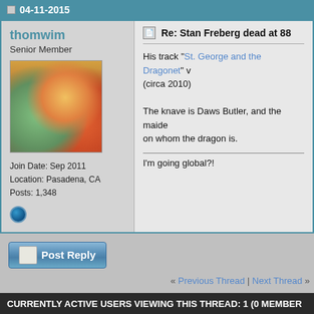04-11-2015
thomwim
Senior Member
Join Date: Sep 2011
Location: Pasadena, CA
Posts: 1,348
[Figure (photo): User avatar with cartoon characters]
Re: Stan Freberg dead at 88
His track "St. George and the Dragonet" (circa 2010)
The knave is Daws Butler, and the maiden on whom the dragon is.
I'm going global?!
Post Reply
« Previous Thread | Next Thread »
CURRENTLY ACTIVE USERS VIEWING THIS THREAD: 1 (0 MEMBER
Posting Rules
Forum